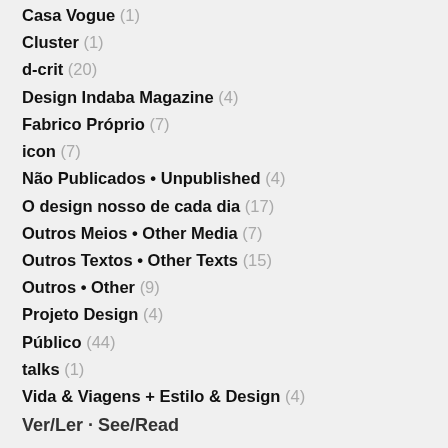Casa Vogue (1)
Cluster (1)
d-crit (20)
Design Indaba Magazine (4)
Fabrico Próprio (7)
icon (7)
Não Publicados • Unpublished (4)
O design nosso de cada dia (17)
Outros Meios • Other Media (7)
Outros Textos • Other Texts (15)
Outros • Other (9)
Projeto Design (4)
Público (44)
talks (1)
Vida & Viagens + Estilo & Design (4)
Ver/Ler · See/Read